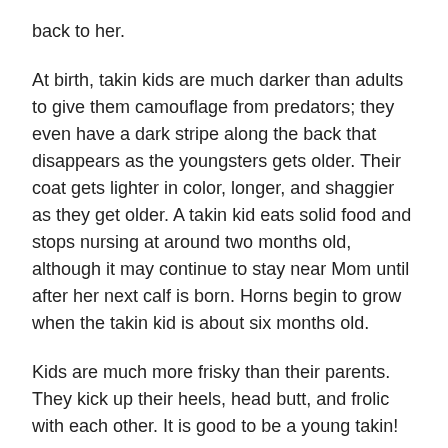back to her.
At birth, takin kids are much darker than adults to give them camouflage from predators; they even have a dark stripe along the back that disappears as the youngsters gets older. Their coat gets lighter in color, longer, and shaggier as they get older. A takin kid eats solid food and stops nursing at around two months old, although it may continue to stay near Mom until after her next calf is born. Horns begin to grow when the takin kid is about six months old.
Kids are much more frisky than their parents. They kick up their heels, head butt, and frolic with each other. It is good to be a young takin!